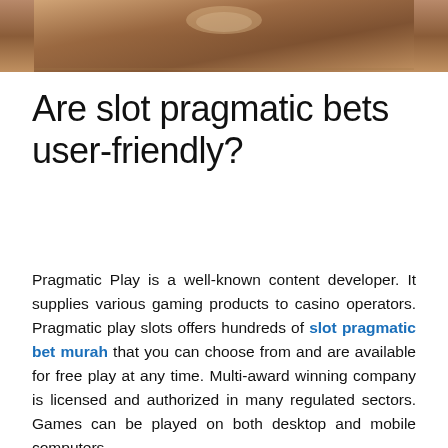[Figure (photo): Partial photo of an object on a wooden/brown surface, cropped at top of page]
Are slot pragmatic bets user-friendly?
Pragmatic Play is a well-known content developer. It supplies various gaming products to casino operators. Pragmatic play slots offers hundreds of slot pragmatic bet murah that you can choose from and are available for free play at any time. Multi-award winning company is licensed and authorized in many regulated sectors. Games can be played on both desktop and mobile computers.